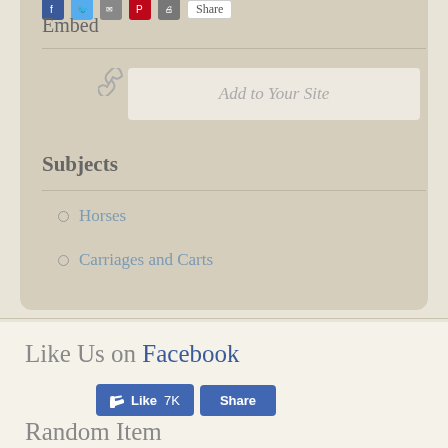Embed
[Figure (screenshot): Add to Your Site button with link icon]
Subjects
Horses
Carriages and Carts
Like Us on Facebook
[Figure (screenshot): Facebook Like (7K) and Share buttons]
Random Item